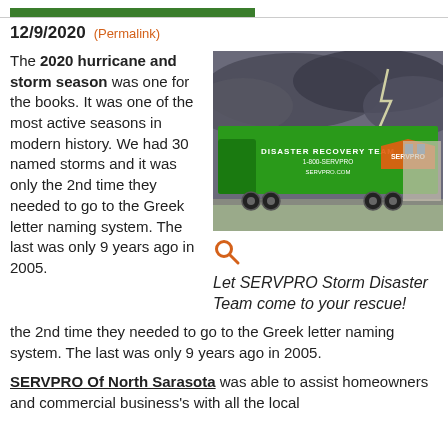12/9/2020 (Permalink)
The 2020 hurricane and storm season was one for the books. It was one of the most active seasons in modern history. We had 30 named storms and it was only the 2nd time they needed to go to the Greek letter naming system. The last was only 9 years ago in 2005.
[Figure (photo): A SERVPRO green semi-trailer truck branded as 'Disaster Recovery Team' with phone number 1-800-SERVPRO and website SERVPRO.com, parked under a dramatic stormy sky.]
Let SERVPRO Storm Disaster Team come to your rescue!
SERVPRO Of North Sarasota was able to assist homeowners and commercial business's with all the local